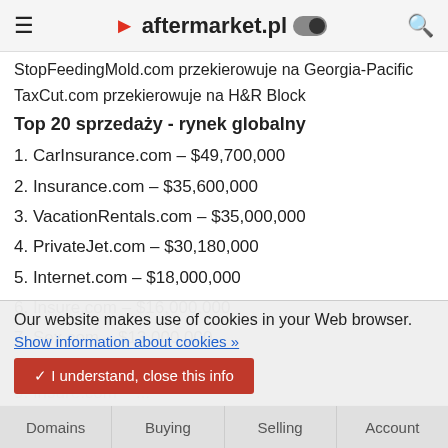aftermarket.pl
StopFeedingMold.com przekierowuje na Georgia-Pacific
TaxCut.com przekierowuje na H&R Block
Top 20 sprzedaży - rynek globalny
1. CarInsurance.com – $49,700,000
2. Insurance.com – $35,600,000
3. VacationRentals.com – $35,000,000
4. PrivateJet.com – $30,180,000
5. Internet.com – $18,000,000
6. Insure.com – $16,000,000
7. Sex.com – $13,000,000
8. Hotels.com – $11,000,000
9. ...
Our website makes use of cookies in your Web browser. Show information about cookies »
I understand, close this info
Domains | Buying | Selling | Account